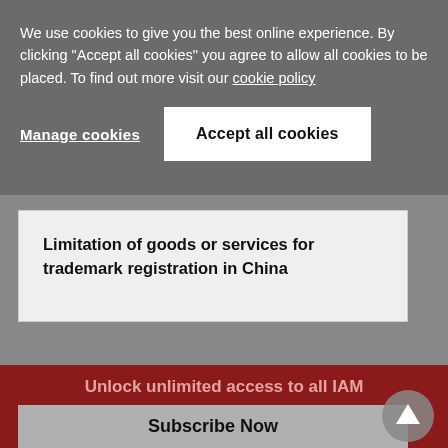We use cookies to give you the best online experience. By clicking "Accept all cookies" you agree to allow all cookies to be placed. To find out more visit our cookie policy
Manage cookies
Accept all cookies
Limitation of goods or services for trademark registration in China
Unlock unlimited access to all IAM content
Subscribe Now